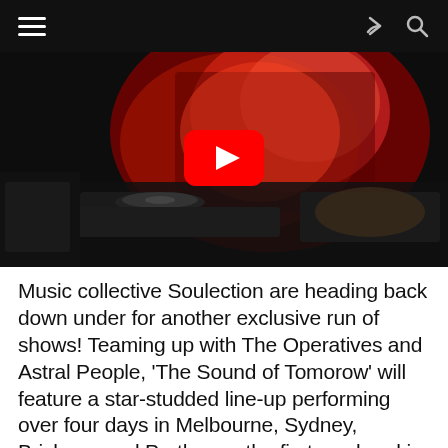[ hamburger menu | share icon | search icon ]
[Figure (photo): A DJ performing at a nightclub with Pioneer DJ equipment and a colorful pink/red projection screen in the background, overlaid with a YouTube play button icon.]
Music collective Soulection are heading back down under for another exclusive run of shows! Teaming up with The Operatives and Astral People, 'The Sound of Tomorow' will feature a star-studded line-up performing over four days in Melbourne, Sydney, Brisbane and Perth over the first weekend in March. This year's bill boasts international acts SOSUPERSAM, Jarreau Vandal and LAKIM, supported by a smattering of local producers.